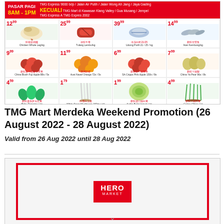[Figure (infographic): TMG Mart Pasar Pagi promotional flyer showing grocery items with prices: Chicken Whole Leg 12.99/kg, Tulang Lembu 25.99/kg, Udang Putih 21/25 39.99/kg, Ikan Kembong 14.99/kg, China Blush Fuji Apple 9.99, Aust Navel Orange 11.99, SA Cripps Pink Apple 6.99, China Ya Pear 7.99, Baby Romaine 4.59/kg, White Snow Mushroom 1.79/150g, Kobis Bulat Import 1.99/kg, Celery China 4.99/kg]
TMG Mart Merdeka Weekend Promotion (26 August 2022 - 28 August 2022)
Valid from 26 Aug 2022 until 28 Aug 2022
[Figure (logo): Hero Market logo inside red border frame with Fresh & Best tagline and chevron arrow]